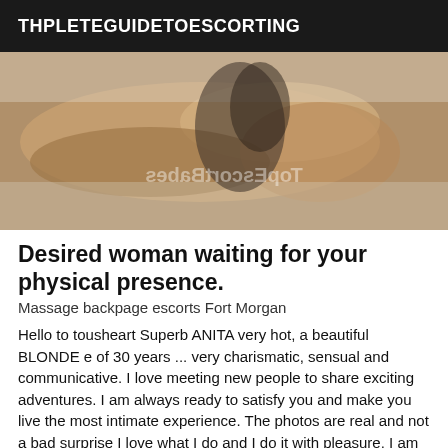THPLETEGUIDETOESCORTING
[Figure (photo): Close-up photograph of hands, with a mirrored watermark text reading TopEscortBabes]
Desired woman waiting for your physical presence.
Massage backpage escorts Fort Morgan
Hello to tousheart Superb ANITA very hot, a beautiful BLONDE e of 30 years ... very charismatic, sensual and communicative. I love meeting new people to share exciting adventures. I am always ready to satisfy you and make you live the most intimate experience. The photos are real and not a bad surprise I love what I do and I do it with pleasure. I am proud to assure you an excellent service and that the wood I love every minute